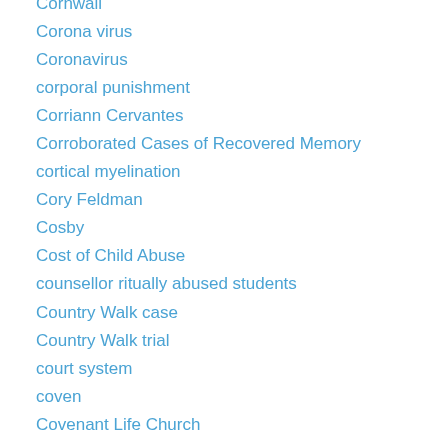Cornwall
Corona virus
Coronavirus
corporal punishment
Corriann Cervantes
Corroborated Cases of Recovered Memory
cortical myelination
Cory Feldman
Cosby
Cost of Child Abuse
counsellor ritually abused students
Country Walk case
Country Walk trial
court system
coven
Covenant Life Church
cover up
cover up clergy abuse
cover up of a paedophile ring
covert police investigations